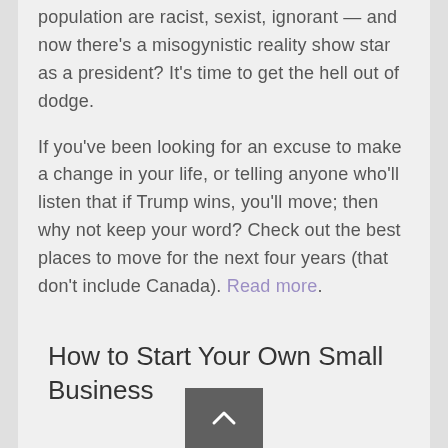population are racist, sexist, ignorant — and now there's a misogynistic reality show star as a president? It's time to get the hell out of dodge.

If you've been looking for an excuse to make a change in your life, or telling anyone who'll listen that if Trump wins, you'll move; then why not keep your word? Check out the best places to move for the next four years (that don't include Canada). Read more.
How to Start Your Own Small Business